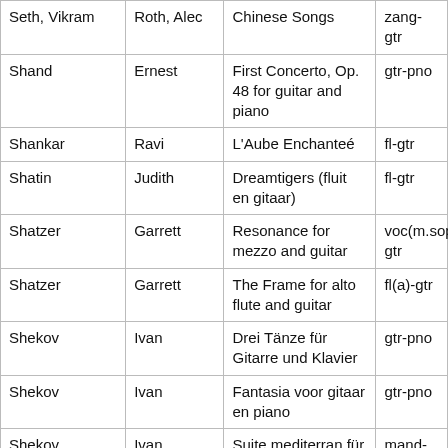| Seth, Vikram | Roth, Alec | Chinese Songs | zang-gtr |
| Shand | Ernest | First Concerto, Op. 48 for guitar and piano | gtr-pno |
| Shankar | Ravi | L'Aube Enchanteé | fl-gtr |
| Shatin | Judith | Dreamtigers (fluit en gitaar) | fl-gtr |
| Shatzer | Garrett | Resonance for mezzo and guitar | voc(m.sop)-gtr |
| Shatzer | Garrett | The Frame for alto flute and guitar | fl(a)-gtr |
| Shekov | Ivan | Drei Tänze für Gitarre und Klavier | gtr-pno |
| Shekov | Ivan | Fantasia voor gitaar en piano | gtr-pno |
| Shekov | Ivan | Suite mediterran für Mandoline und Gitarre | mand-gtr |
| Shekov | Ivan | Tiermärchen für Gitarre und Klavier | gtr-pno |
| Shekov | Ivan | Un poco Vivaldi für Violine und Gitarre | vl-gtr |
| Shimoyama | Hifumi | Duplication for viola and guitar (2009) | vla-gtr |
|  |  | Skook's Curiosity, for |  |